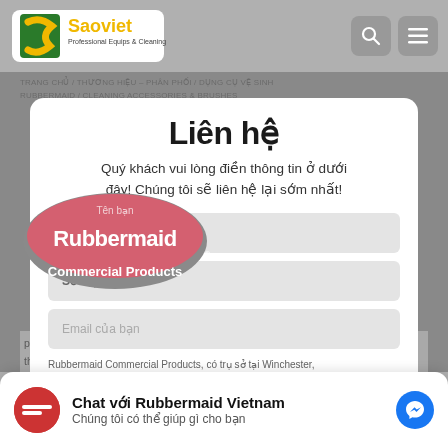[Figure (logo): Saoviet Professional Equips & Cleaning logo with green and yellow S icon]
TRANG CHỦ / THƯƠNG HIỆU – PHÂN PHỐI / DỤNG CỤ VỆ SINH RUBBERMAID / CLEANING ACCESSORIES & BRUSHES
Liên hệ
Quý khách vui lòng điền thông tin ở dưới đây! Chúng tôi sẽ liên hệ lại sớm nhất!
[Figure (logo): Rubbermaid Commercial Products logo - pink/red oval with white text]
Tên bạn
Số điện thoại
Email của bạn
Rubbermaid Commercial Products, có trụ sở tại Winchester, Virginia – USA. Là nhà sản xuất các sản phẩm dựa trên giải
Thông điệp muốn gửi!
Chat với Rubbermaid Vietnam
Chúng tôi có thể giúp gì cho bạn
phòng về công nghệ và giải pháp hệ thống trong các loại dịch vụ thực phẩm, dụng cụ vệ sinh, xử lý chất thải, vận chuyển vật liệu